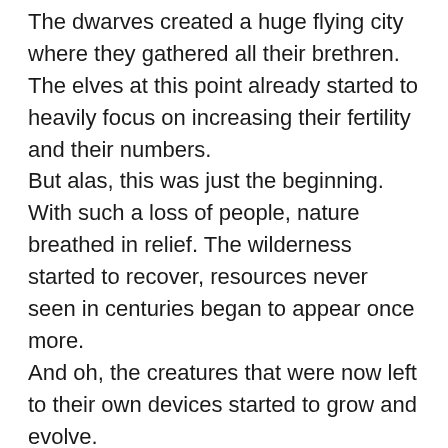The dwarves created a huge flying city where they gathered all their brethren.
The elves at this point already started to heavily focus on increasing their fertility and their numbers.
But alas, this was just the beginning.
With such a loss of people, nature breathed in relief. The wilderness started to recover, resources never seen in centuries began to appear once more.
And oh, the creatures that were now left to their own devices started to grow and evolve.
Soon, a new race appeared in our world: the beasts. Intelligent, and sentient creatures from several animal species that were on this planet.
And this is our current world situation: humans, elves, dwarves, dragons/dragonewts and beasts are trying to see what this huge world has to offer.
As I finished saying that, I looked around.